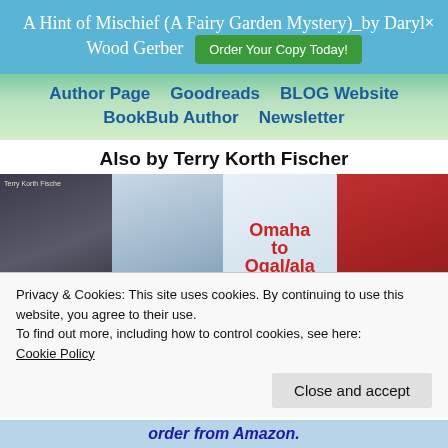A Hint of Mischief (A Fairy Garden Mystery)_by Daryl Wood Gerber
Order Your Copy Today!
Author Page   Goodreads   BLOG Website   BookBub Author   Newsletter
Also by Terry Korth Fischer
[Figure (photo): Four book covers: Gone Astray, Gone Before, Omaha to Ogallala, Tis The Season — all by Terry Korth Fischer]
Privacy & Cookies: This site uses cookies. By continuing to use this website, you agree to their use.
To find out more, including how to control cookies, see here:
Cookie Policy
Close and accept
order from Amazon.